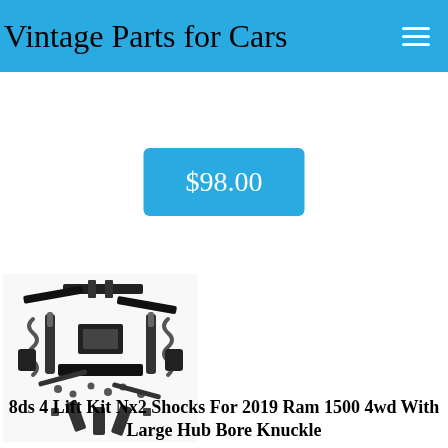Vintage Parts for Cars
$98.00
[Figure (photo): Lift kit components including brackets, springs, shocks, and hardware spread out on white background]
8ds 4 Lift Kit Nx2 Shocks For 2019 Ram 1500 4wd With Large Hub Bore Knuckle